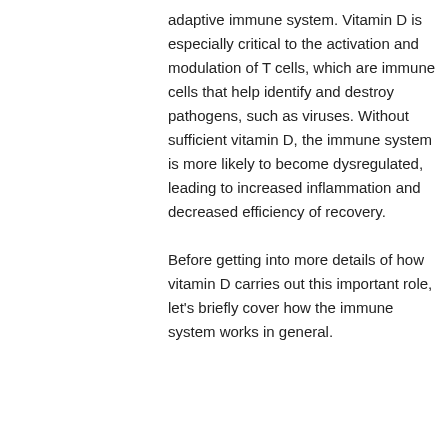adaptive immune system. Vitamin D is especially critical to the activation and modulation of T cells, which are immune cells that help identify and destroy pathogens, such as viruses. Without sufficient vitamin D, the immune system is more likely to become dysregulated, leading to increased inflammation and decreased efficiency of recovery.
Before getting into more details of how vitamin D carries out this important role, let's briefly cover how the immune system works in general.